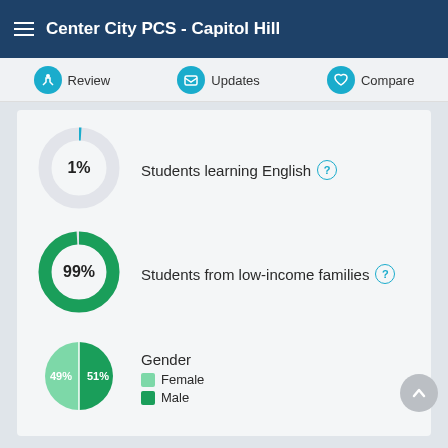Center City PCS - Capitol Hill
Review  Updates  Compare
[Figure (donut-chart): Students learning English]
Students learning English
[Figure (donut-chart): Students from low-income families]
Students from low-income families
[Figure (pie-chart): Gender]
Gender
Female
Male